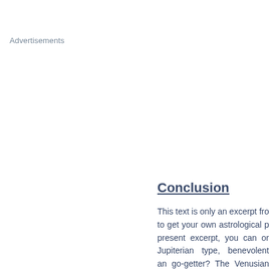Advertisements
Conclusion
This text is only an excerpt fro to get your own astrological p present excerpt, you can or Jupiterian type, benevolent an go-getter? The Venusian type imaginative and sensitive? T Horoscope...